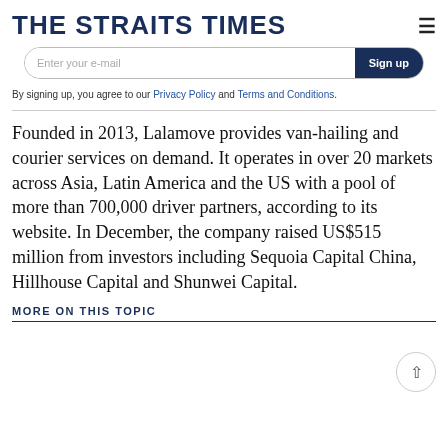THE STRAITS TIMES
Enter your e-mail   Sign up
By signing up, you agree to our Privacy Policy and Terms and Conditions.
Founded in 2013, Lalamove provides van-hailing and courier services on demand. It operates in over 20 markets across Asia, Latin America and the US with a pool of more than 700,000 driver partners, according to its website. In December, the company raised US$515 million from investors including Sequoia Capital China, Hillhouse Capital and Shunwei Capital.
MORE ON THIS TOPIC